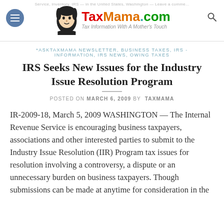TaxMama.com — Tax Information With A Mother's Touch
*ASKTAXMAMA NEWSLETTER, BUSINESS TAXES, IRS - INFORMATION, IRS NEWS, OWING TAXES
IRS Seeks New Issues for the Industry Issue Resolution Program
POSTED ON MARCH 6, 2009 BY TAXMAMA
IR-2009-18, March 5, 2009 WASHINGTON — The Internal Revenue Service is encouraging business taxpayers, associations and other interested parties to submit to the Industry Issue Resolution (IIR) Program tax issues for resolution involving a controversy, a dispute or an unnecessary burden on business taxpayers. Though submissions can be made at anytime for consideration in the